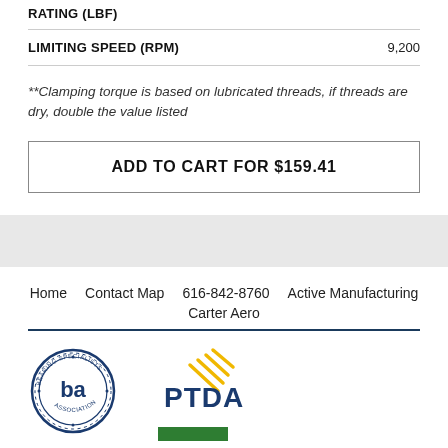| RATING (LBF) |  |
| --- | --- |
| LIMITING SPEED (RPM) | 9,200 |
**Clamping torque is based on lubricated threads, if threads are dry, double the value listed
ADD TO CART FOR $159.41
Home   Contact Map   616-842-8760   Active Manufacturing   Carter Aero
[Figure (logo): Bearing Specialists Association (BSA) circular logo]
[Figure (logo): PTDA logo with yellow swoosh lines and blue text]